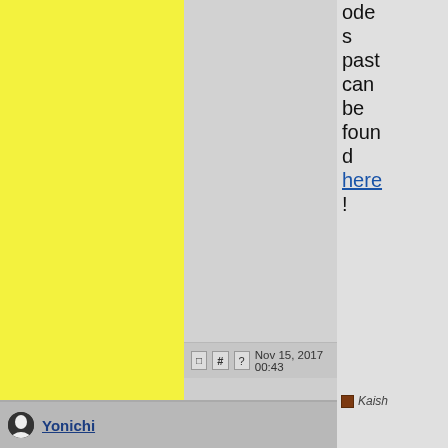[Figure (screenshot): Forum post page screenshot showing yellow left panel, gray post area, sidebar with text about codes/pastes, user name Kaish partially visible, Profile/Post H/Rap Sh buttons, Quote button, lock icon, and bottom bar with next post by Yonichi]
odes past can be found here !
Kaish
Profile
Post H
Rap Sh
QUOTE
Nov 15, 2017 00:43
Yonichi